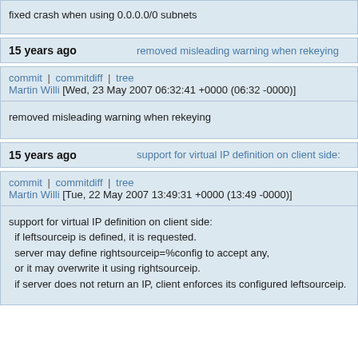fixed crash when using 0.0.0.0/0 subnets
15 years ago    removed misleading warning when rekeying
commit | commitdiff | tree
Martin Willi [Wed, 23 May 2007 06:32:41 +0000 (06:32 -0000)]
removed misleading warning when rekeying
15 years ago    support for virtual IP definition on client side:
commit | commitdiff | tree
Martin Willi [Tue, 22 May 2007 13:49:31 +0000 (13:49 -0000)]
support for virtual IP definition on client side:
  if leftsourceip is defined, it is requested.
  server may define rightsourceip=%config to accept any,
  or it may overwrite it using rightsourceip.
  if server does not return an IP, client enforces its configured leftsourceip.